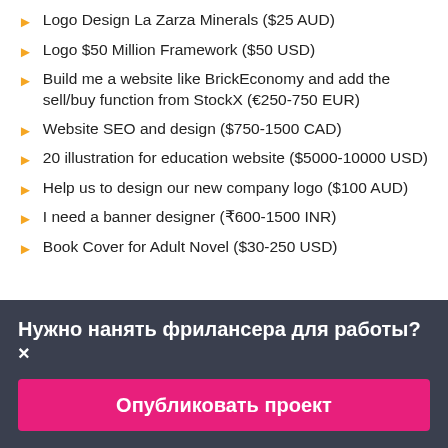Logo Design La Zarza Minerals ($25 AUD)
Logo $50 Million Framework ($50 USD)
Build me a website like BrickEconomy and add the sell/buy function from StockX (€250-750 EUR)
Website SEO and design ($750-1500 CAD)
20 illustration for education website ($5000-10000 USD)
Help us to design our new company logo ($100 AUD)
I need a banner designer (₹600-1500 INR)
Book Cover for Adult Novel ($30-250 USD)
Нужно нанять фрилансера для работы?×
Опубликовать проект